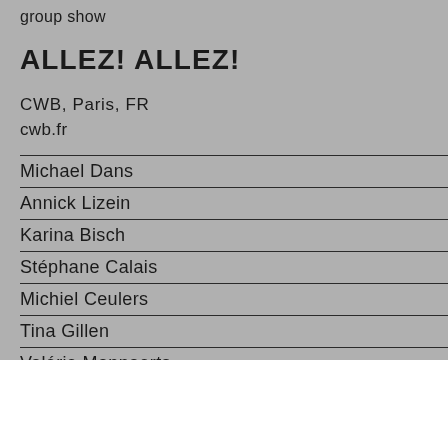group show
ALLEZ! ALLEZ!
CWB, Paris, FR
cwb.fr
Michael Dans
Annick Lizein
Karina Bisch
Stéphane Calais
Michiel Ceulers
Tina Gillen
Valérie Mannaerts
Robert Suermondt